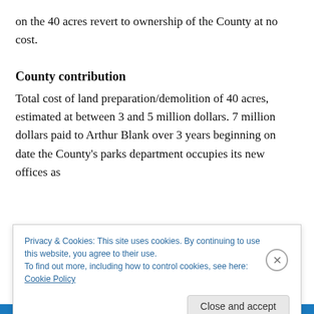on the 40 acres revert to ownership of the County at no cost.
County contribution
Total cost of land preparation/demolition of 40 acres, estimated at between 3 and 5 million dollars. 7 million dollars paid to Arthur Blank over 3 years beginning on date the County's parks department occupies its new offices as
Privacy & Cookies: This site uses cookies. By continuing to use this website, you agree to their use.
To find out more, including how to control cookies, see here: Cookie Policy